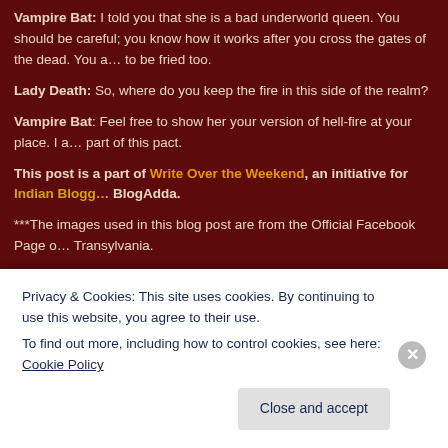Vampire Bat: I told you that she is a bad underworld queen. You should be careful; you know how it works after you cross the gates of the dead. You are to be fried too.
Lady Death: So, where do you keep the fire in this side of the realm?
Vampire Bat: Feel free to show her your version of hell-fire at your place. I am part of this pact.
This post is a part of Write Over the Weekend, an initiative for Indian Bloggers by BlogAdda.
***The images used in this blog post are from the Official Facebook Page of Hotel Transylvania.
TeNy
Privacy & Cookies: This site uses cookies. By continuing to use this website, you agree to their use.
To find out more, including how to control cookies, see here: Cookie Policy
Close and accept